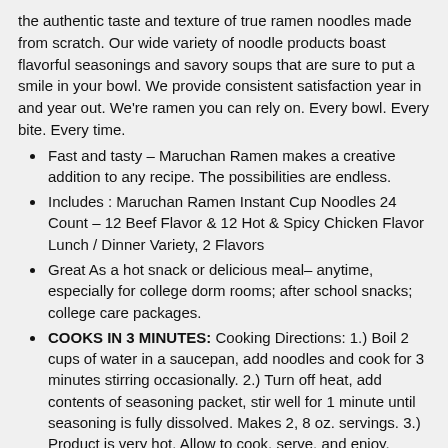the authentic taste and texture of true ramen noodles made from scratch. Our wide variety of noodle products boast flavorful seasonings and savory soups that are sure to put a smile in your bowl. We provide consistent satisfaction year in and year out. We're ramen you can rely on. Every bowl. Every bite. Every time.
Fast and tasty – Maruchan Ramen makes a creative addition to any recipe. The possibilities are endless.
Includes : Maruchan Ramen Instant Cup Noodles 24 Count – 12 Beef Flavor & 12 Hot & Spicy Chicken Flavor Lunch / Dinner Variety, 2 Flavors
Great As a hot snack or delicious meal– anytime, especially for college dorm rooms; after school snacks; college care packages.
COOKS IN 3 MINUTES: Cooking Directions: 1.) Boil 2 cups of water in a saucepan, add noodles and cook for 3 minutes stirring occasionally. 2.) Turn off heat, add contents of seasoning packet, stir well for 1 minute until seasoning is fully dissolved. Makes 2, 8 oz. servings. 3.) Product is very hot. Allow to cook, serve, and enjoy.
PRODUCT IS HOT WHEN READY; PLEASE HANDLE WITH CARE.